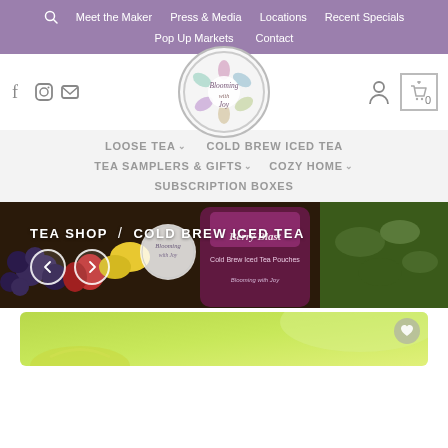Meet the Maker | Press & Media | Locations | Recent Specials | Pop Up Markets | Contact
[Figure (logo): Blooming with Joy circular logo with floral design]
LOOSE TEA | COLD BREW ICED TEA | TEA SAMPLERS & GIFTS | COZY HOME | SUBSCRIPTION BOXES
[Figure (photo): Hero banner showing cold brew iced tea products with berries and citrus fruits, Berry Blast Cold Brew Iced Tea Pouches visible]
TEA SHOP / COLD BREW ICED TEA
[Figure (photo): Product thumbnail with green/yellow gradient background, beginning of product image visible]